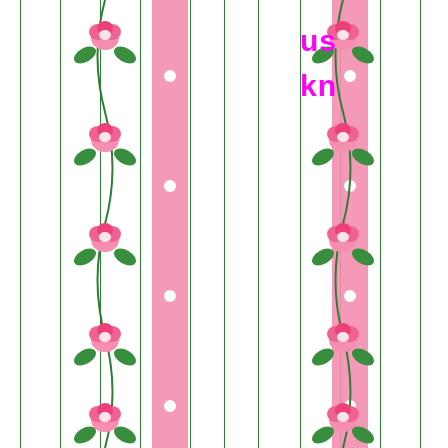[Figure (illustration): Decorative page with pink polka-dot stripes, green thin vertical lines, rose vine border strips on left and right sides, magenta bold partial text 'us' and 'kn' at top center, and a small vertical graphic element in the center.]
us
kn